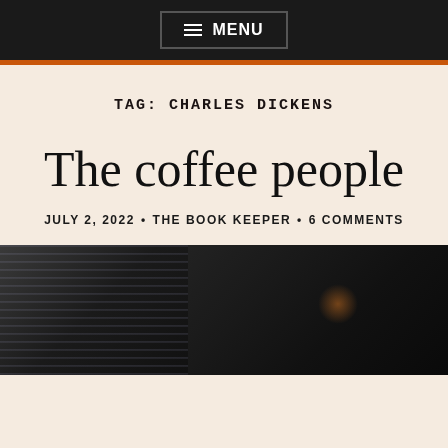≡ MENU
TAG: CHARLES DICKENS
The coffee people
JULY 2, 2022 • THE BOOK KEEPER • 6 COMMENTS
[Figure (photo): Dark photograph showing a rainy scene on the left side and a dark atmospheric scene with a warm glow on the right side]